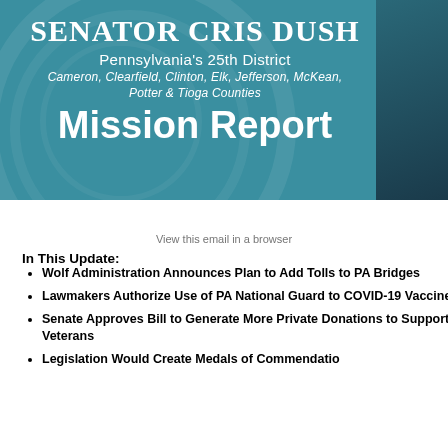[Figure (illustration): Header banner with teal/blue-green background featuring a decorative circular seal watermark, text for Senator Cris Dush Pennsylvania's 25th District Mission Report, and a partial photo of a man in a suit on the right side]
View this email in a browser
In This Update:
Wolf Administration Announces Plan to Add Tolls to PA Bridges
Lawmakers Authorize Use of PA National Guard to COVID-19 Vaccine
Senate Approves Bill to Generate More Private Donations to Support Veterans
Legislation Would Create Medals of Commendation